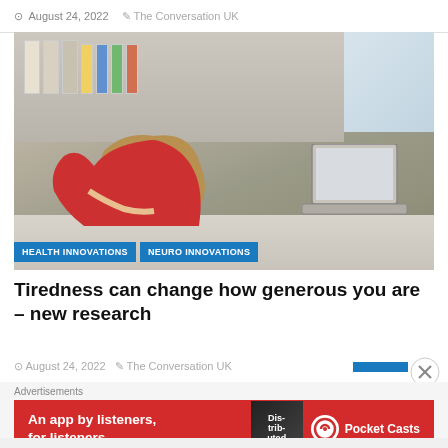August 24, 2022   The Conversation UK
[Figure (photo): Woman in red top slumped face-down on a desk in an office, with a laptop and bookshelves in the background. Tags: HEALTH INNOVATIONS, NEURO INNOVATIONS]
Tiredness can change how generous you are – new research
August 24, 2022   The Conversation UK
[Figure (infographic): Advertisement banner: 'An app by listeners, for listeners.' with Pocket Casts logo and a book graphic on red background]